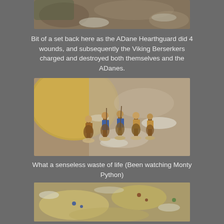[Figure (photo): Close-up photo of miniature wargaming figures on a battle mat, partially visible at top of page]
Bit of a set back here as the ADane Hearthguard did 4 wounds, and subsequently the Viking Berserkers charged and destroyed both themselves and the ADanes.
[Figure (photo): Photo of painted miniature wargaming figures (Viking/ADane warriors) on a terrain board with a large circular base visible]
What a senseless waste of life (Been watching Monty Python)
[Figure (photo): Overhead photo of a miniature wargame battlefield showing terrain pieces and gaming tokens, partially visible at bottom]